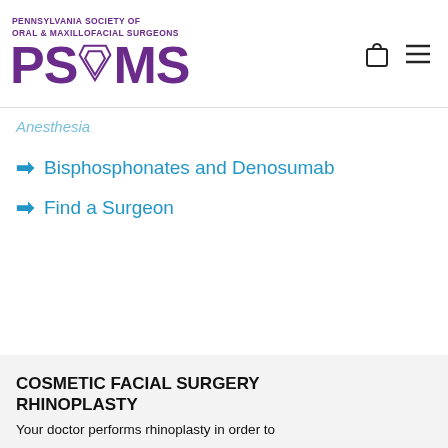Pennsylvania Society of Oral & Maxillofacial Surgeons PSOMS
Anesthesia
Bisphosphonates and Denosumab
Find a Surgeon
COSMETIC FACIAL SURGERY RHINOPLASTY
Your doctor performs rhinoplasty in order to